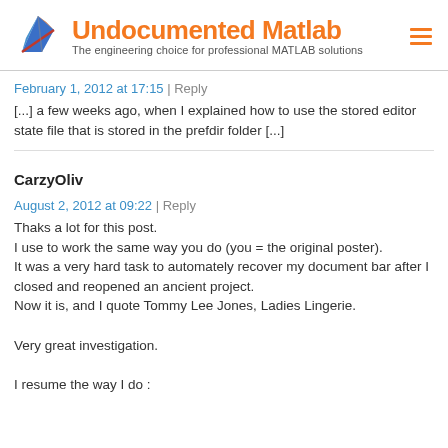[Figure (logo): Undocumented Matlab logo with MATLAB triangular icon and orange text]
February 1, 2012 at 17:15 | Reply
[...] a few weeks ago, when I explained how to use the stored editor state file that is stored in the prefdir folder [...]
CarzyOliv
August 2, 2012 at 09:22 | Reply
Thaks a lot for this post.
I use to work the same way you do (you = the original poster).
It was a very hard task to automately recover my document bar after I closed and reopened an ancient project.
Now it is, and I quote Tommy Lee Jones, Ladies Lingerie.

Very great investigation.

I resume the way I do :